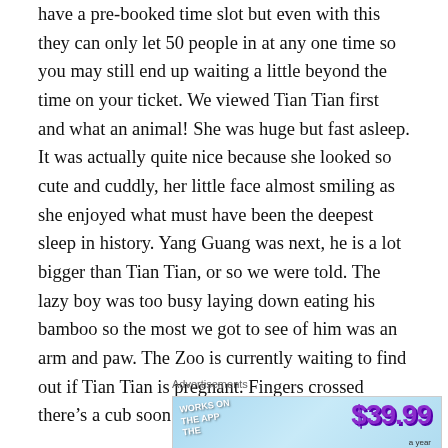have a pre-booked time slot but even with this they can only let 50 people in at any one time so you may still end up waiting a little beyond the time on your ticket. We viewed Tian Tian first and what an animal! She was huge but fast asleep. It was actually quite nice because she looked so cute and cuddly, her little face almost smiling as she enjoyed what must have been the deepest sleep in history. Yang Guang was next, he is a lot bigger than Tian Tian, or so we were told. The lazy boy was too busy laying down eating his bamboo so the most we got to see of him was an arm and paw. The Zoo is currently waiting to find out if Tian Tian is pregnant. Fingers crossed there’s a cub soon!
Advertisements
[Figure (other): Advertisement banner with light blue background. Left side shows 'WORKS ON THE APP' text in white bold letters at an angle. Right side shows '$39.99' in large purple text and 'a year' text below.]